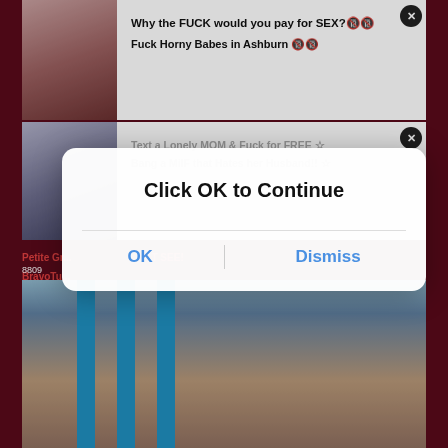[Figure (screenshot): Adult website screenshot with pop-up ads and modal dialog overlay. Background shows dark maroon website with thumbnail images. Two white ad banners with close buttons visible. A modal dialog with 'Click OK to Continue' text and OK/Dismiss buttons overlays the content. Bottom portion shows a video thumbnail.]
Why the FUCK would you pay for SEX?🔞🔞
Fuck Horny Babes in Ashburn 🔞🔞
Text a Lonely MOM & Fuck for FREE ☆
Bang a MilF that Hates her Husband!! ☆
Petite Gr... T SEE!
BravoTu...
8809
Click OK to Continue
OK
Dismiss